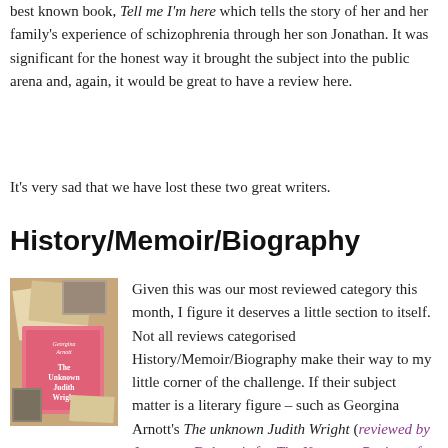best known book, Tell me I'm here which tells the story of her and her family's experience of schizophrenia through her son Jonathan. It was significant for the honest way it brought the subject into the public arena and, again, it would be great to have a review here.
It's very sad that we have lost these two great writers.
History/Memoir/Biography
[Figure (photo): Book cover of 'The Unknown Judith Wright' by Georgina Arnott, showing the book among scattered papers and photographs]
Given this was our most reviewed category this month, I figure it deserves a little section to itself. Not all reviews categorised History/Memoir/Biography make their way to my little corner of the challenge. If their subject matter is a literary figure – such as Georgina Arnott's The unknown Judith Wright (reviewed by Jeannette Delamoir for The Newtown Review of Books –